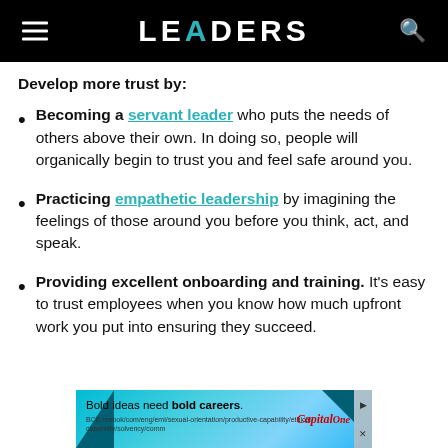LEADERS
Develop more trust by:
Becoming a servant leader who puts the needs of others above their own. In doing so, people will organically begin to trust you and feel safe around you.
Practicing empathetic leadership by imagining the feelings of those around you before you think, act, and speak.
Providing excellent onboarding and training. It’s easy to trust employees when you know how much upfront work you put into ensuring they succeed.
[Figure (screenshot): Advertisement banner: Bold ideas need bold careers. Capital One logo.]